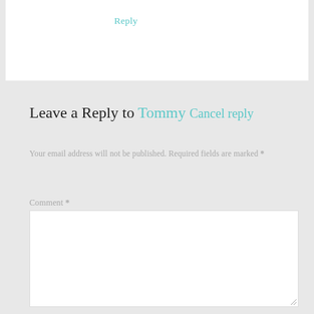Reply
Leave a Reply to Tommy Cancel reply
Your email address will not be published. Required fields are marked *
Comment *